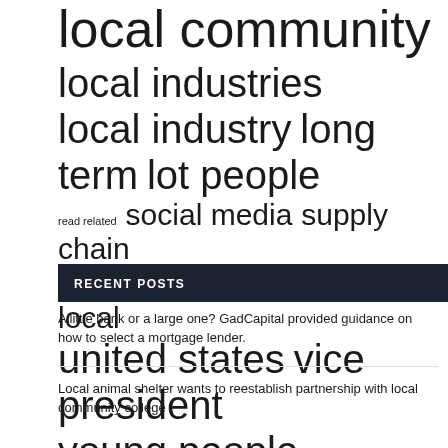local community  local industries  local industry  long term  lot people  read related  social media  supply chain  support community  support local  united states  vice president  young people
RECENT POSTS
A little bank or a large one? GadCapital provided guidance on how to select a mortgage lender.
Local animal shelter wants to reestablish partnership with local community college